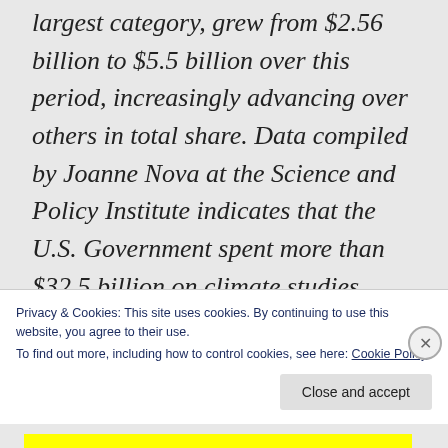largest category, grew from $2.56 billion to $5.5 billion over this period, increasingly advancing over others in total share. Data compiled by Joanne Nova at the Science and Policy Institute indicates that the U.S. Government spent more than $32.5 billion on climate studies between 1989 and
Privacy & Cookies: This site uses cookies. By continuing to use this website, you agree to their use.
To find out more, including how to control cookies, see here: Cookie Policy